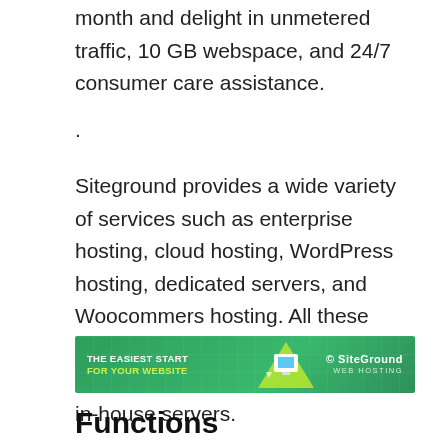month and delight in unmetered traffic, 10 GB webspace, and 24/7 consumer care assistance.
.
Siteground provides a wide variety of services such as enterprise hosting, cloud hosting, WordPress hosting, dedicated servers, and Woocommers hosting. All these services come as leased servers directly from Google cloud and not in-house servers.
[Figure (other): SiteGround web hosting banner advertisement with green background, computer graphic, and text 'THE EASIEST START FOR YOUR WEBSITE © SiteGround WEB HOSTING']
Functions